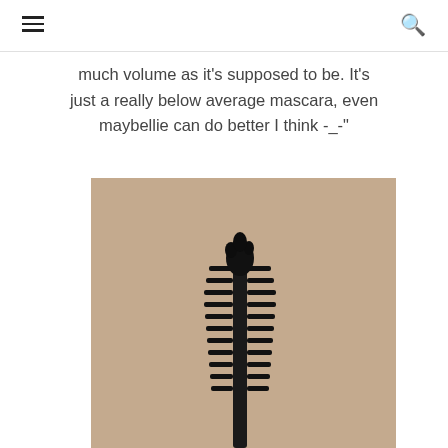[hamburger menu icon] [search icon]
much volume as it's supposed to be. It's just a really below average mascara, even maybellie can do better I think -_-"
[Figure (photo): Close-up photo of a black mascara wand/brush against a beige/tan background, showing the bristles of the applicator in detail.]